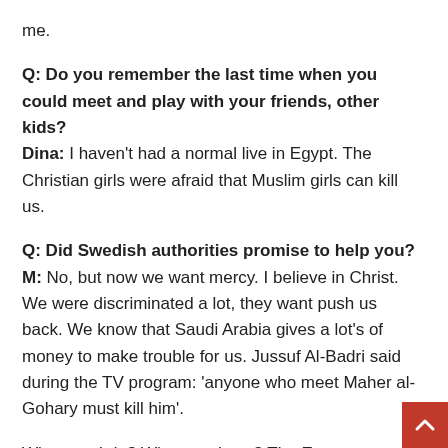me.
Q: Do you remember the last time when you could meet and play with your friends, other kids?
Dina: I haven't had a normal live in Egypt. The Christian girls were afraid that Muslim girls can kill us.
Q: Did Swedish authorities promise to help you?
M: No, but now we want mercy. I believe in Christ. We were discriminated a lot, they want push us back. We know that Saudi Arabia gives a lot's of money to make trouble for us. Jussuf Al-Badri said during the TV program: 'anyone who meet Maher al-Gohary must kill him'.
What can I do? What can I say? The European Union knows about us, why they don't accept us? In immigration office they say that maybe we need to return to France, but